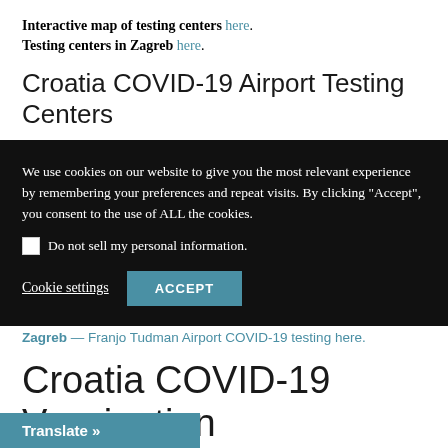Interactive map of testing centers here. Testing centers in Zagreb here.
Croatia COVID-19 Airport Testing Centers
[Figure (screenshot): Cookie consent overlay on dark background with text: 'We use cookies on our website to give you the most relevant experience by remembering your preferences and repeat visits. By clicking "Accept", you consent to the use of ALL the cookies.' Checkbox for 'Do not sell my personal information.' Buttons: 'Cookie settings' (underlined) and 'ACCEPT' (teal button).]
Zagreb — Franjo Tudman Airport COVID-19 testing here.
Croatia COVID-19 Vaccination
Translate »